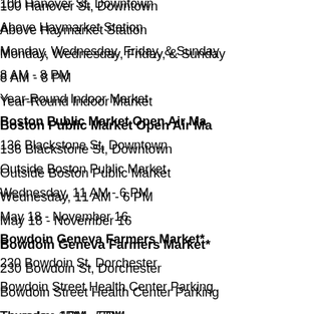100 Hanover St, Downtown
Above Haymarket Station
Monday, Wednesday, Friday, & Sunday
8 AM - 8 PM
Year-Round Indoor Market
Boston Public Market Open Air Market
136 Blackstone St, Downtown
Outside Boston Public Market
Wednesday, 11 AM - 6 PM
May 18 - November 16
Bowdoin Geneva Farmers Market*
230 Bowdoin St, Dorchester
Bowdoin Street Health Center Parking
Thursday, 1PM - 5PM
June 23 - October 27
Charlestown Farmers Market**
Main St & Austin St, Charlestown
Wednesday, 2 PM - 7 PM
June 22- October 26
Codman Square Farmers Market**